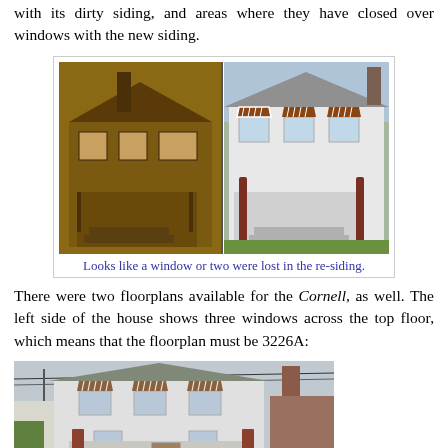with its dirty siding, and areas where they have closed over windows with the new siding.
[Figure (photo): Side-by-side comparison of a house: left shows older sepia photo of a house with dark siding, right shows a modern color photo of the same house with white re-siding and striped awnings over windows.]
Looks like a window or two were lost in the re-siding.
There were two floorplans available for the Cornell, as well. The left side of the house shows three windows across the top floor, which means that the floorplan must be 3226A:
[Figure (photo): Color photo of a house with white siding, striped awnings over upper floor windows, and a brick chimney visible on the right side.]